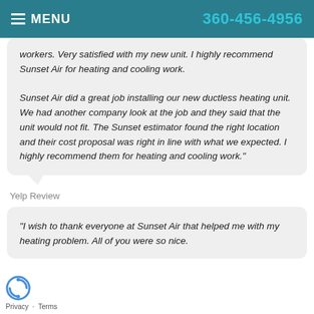MENU  360-456-4956
workers. Very satisfied with my new unit. I highly recommend Sunset Air for heating and cooling work.

Sunset Air did a great job installing our new ductless heating unit. We had another company look at the job and they said that the unit would not fit. The Sunset estimator found the right location and their cost proposal was right in line with what we expected. I highly recommend them for heating and cooling work."
Yelp Review
"I wish to thank everyone at Sunset Air that helped me with my heating problem. All of you were so nice.